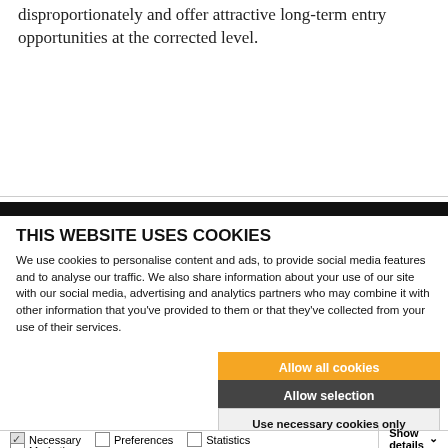disproportionately and offer attractive long-term entry opportunities at the corrected level.
READ
THIS WEBSITE USES COOKIES
We use cookies to personalise content and ads, to provide social media features and to analyse our traffic. We also share information about your use of our site with our social media, advertising and analytics partners who may combine it with other information that you've provided to them or that they've collected from your use of their services.
Allow all cookies
Allow selection
Use necessary cookies only
Necessary  Preferences  Statistics  Marketing  Show details